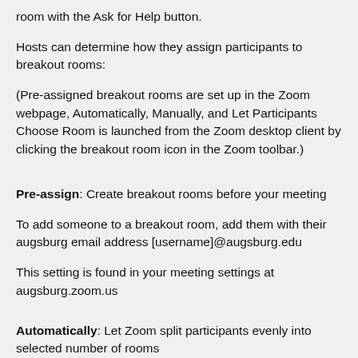room with the Ask for Help button.
Hosts can determine how they assign participants to breakout rooms:
(Pre-assigned breakout rooms are set up in the Zoom webpage, Automatically, Manually, and Let Participants Choose Room is launched from the Zoom desktop client by clicking the breakout room icon in the Zoom toolbar.)
Pre-assign: Create breakout rooms before your meeting To add someone to a breakout room, add them with their augsburg email address [username]@augsburg.edu This setting is found in your meeting settings at augsburg.zoom.us
Automatically: Let Zoom split participants evenly into selected number of rooms
Manually: Choose the participant you would like in each room
Let participants choose room: Participants can select and enter rooms on their own.